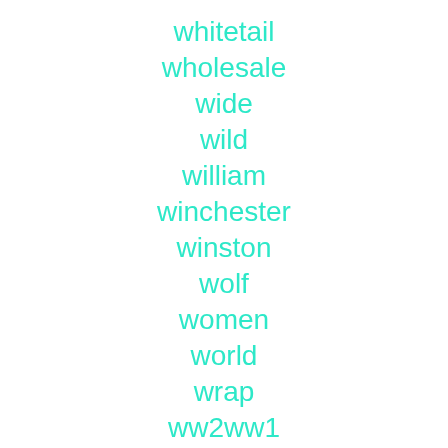whitetail
wholesale
wide
wild
william
winchester
winston
wolf
women
world
wrap
ww2ww1